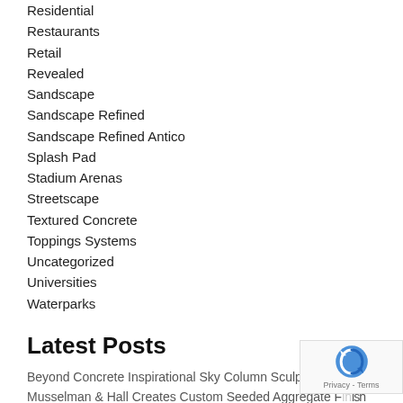Residential
Restaurants
Retail
Revealed
Sandscape
Sandscape Refined
Sandscape Refined Antico
Splash Pad
Stadium Arenas
Streetscape
Textured Concrete
Toppings Systems
Uncategorized
Universities
Waterparks
Latest Posts
Beyond Concrete Inspirational Sky Column Sculpture Project
Musselman & Hall Creates Custom Seeded Aggregate Finish with Bomanite VitraFlor Polished Concrete
Bomanite Toronto Provides Private Residence with Refined Revamp